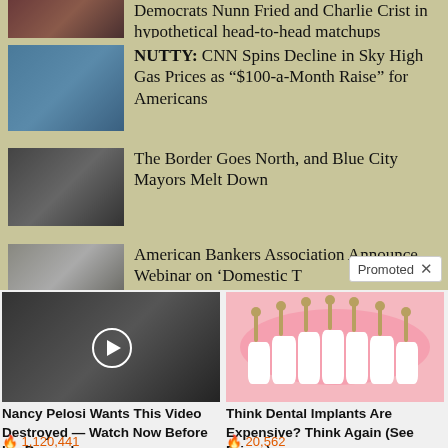[Figure (photo): Partially visible thumbnail of people, cropped at top]
Democrats Nunn Fried and Charlie Crist in hypothetical head-to-head matchups
[Figure (photo): Man in suit on TV news background]
NUTTY: CNN Spins Decline in Sky High Gas Prices as “$100-a-Month Raise” for Americans
[Figure (photo): People at press conference with microphones]
The Border Goes North, and Blue City Mayors Melt Down
[Figure (photo): Building exterior, partially visible]
American Bankers Association Announce Webinar on ‘Domestic T
Promoted
[Figure (photo): Video thumbnail showing political figures, with play button overlay]
Nancy Pelosi Wants This Video Destroyed — Watch Now Before It's Banned
🔥 1,120,441
[Figure (illustration): Dental implant illustration showing teeth on gum model]
Think Dental Implants Are Expensive? Think Again (See Prices)
🔥 20,562